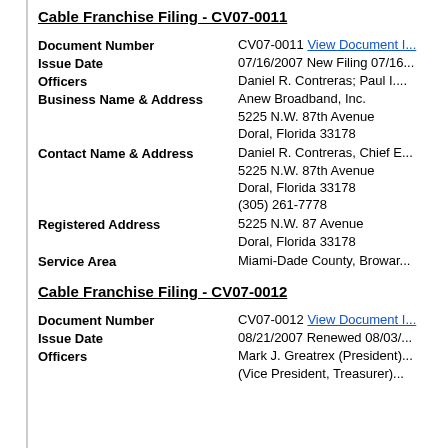Cable Franchise Filing - CV07-0011
| Field | Value |
| --- | --- |
| Document Number | CV07-0011 View Document I... |
| Issue Date | 07/16/2007 New Filing 07/16... |
| Officers | Daniel R. Contreras; Paul I.... |
| Business Name & Address | Anew Broadband, Inc.
5225 N.W. 87th Avenue
Doral, Florida 33178 |
| Contact Name & Address | Daniel R. Contreras, Chief E...
5225 N.W. 87th Avenue
Doral, Florida 33178
(305) 261-7778 |
| Registered Address | 5225 N.W. 87 Avenue
Doral, Florida 33178 |
| Service Area | Miami-Dade County, Browar... |
Cable Franchise Filing - CV07-0012
| Field | Value |
| --- | --- |
| Document Number | CV07-0012 View Document I... |
| Issue Date | 08/21/2007 Renewed 08/03/... |
| Officers | Mark J. Greatrex (President)...
(Vice President, Treasurer)... |